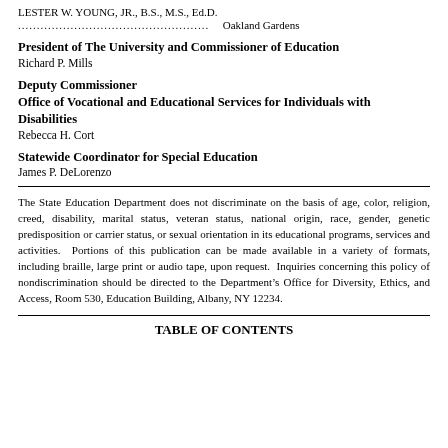LESTER W. YOUNG, JR., B.S., M.S., Ed.D.
....................................................    Oakland Gardens
President of The University and Commissioner of Education
Richard P. Mills
Deputy Commissioner
Office of Vocational and Educational Services for Individuals with Disabilities
Rebecca H. Cort
Statewide Coordinator for Special Education
James P. DeLorenzo
The State Education Department does not discriminate on the basis of age, color, religion, creed, disability, marital status, veteran status, national origin, race, gender, genetic predisposition or carrier status, or sexual orientation in its educational programs, services and activities.  Portions of this publication can be made available in a variety of formats, including braille, large print or audio tape, upon request.  Inquiries concerning this policy of nondiscrimination should be directed to the Department’s Office for Diversity, Ethics, and Access, Room 530, Education Building, Albany, NY 12234.
TABLE OF CONTENTS